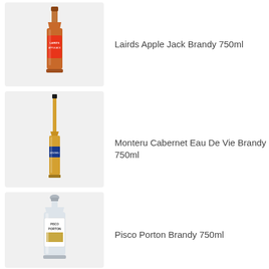[Figure (photo): Bottle of Lairds Apple Jack Brandy 750ml, reddish-brown label]
Lairds Apple Jack Brandy 750ml
[Figure (photo): Bottle of Monteru Cabernet Eau De Vie Brandy 750ml, tall slender bottle with golden liquid]
Monteru Cabernet Eau De Vie Brandy 750ml
[Figure (photo): Bottle of Pisco Porton Brandy 750ml, clear bottle with silver cap and label]
Pisco Porton Brandy 750ml